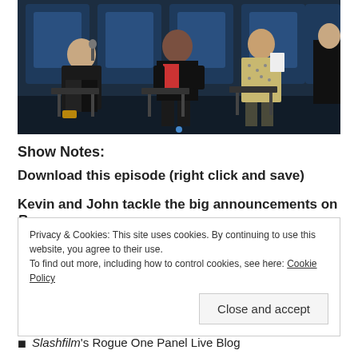[Figure (photo): Panel discussion on stage: three people seated in chairs on a dark stage with blue-lit background; a man on the left holding a microphone and laughing, a woman in the center laughing, a woman on the right in a patterned dress holding papers, and a partial figure on the far right.]
Show Notes:
Download this episode (right click and save)
Kevin and John tackle the big announcements on Rogue
Privacy & Cookies: This site uses cookies. By continuing to use this website, you agree to their use.
To find out more, including how to control cookies, see here: Cookie Policy
Close and accept
Slashfilm's Rogue One Panel Live Blog